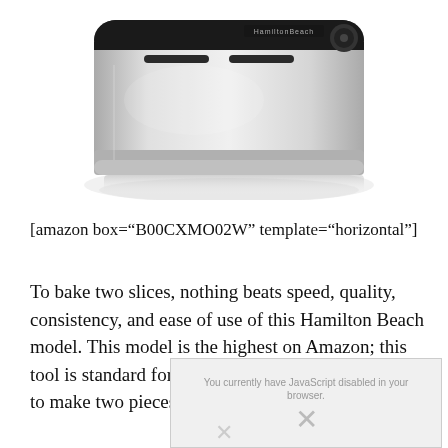[Figure (photo): Hamilton Beach toaster product photo — silver and black countertop toaster shown from above at an angle, with the brand logo visible on the front, product has a reflective surface on a white background]
[amazon box="B00CXMO02W" template="horizontal"]
To bake two slices, nothing beats speed, quality, consistency, and ease of use of this Hamilton Beach model. This model is the highest on Amazon; this tool is standard for small households that only need to make two pieces of toast at once.
[Figure (photo): Broken/missing image placeholder with an X symbol and text about the item being unavailable]